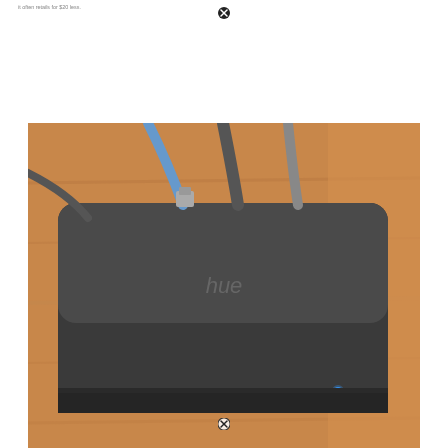it often retails for $20 less.
[Figure (photo): A dark grey Philips Hue smart home hub/bridge device with multiple cables plugged into it (ethernet and power), sitting on a wooden surface. The device has the word 'hue' printed on it and a small blue LED light on the front.]